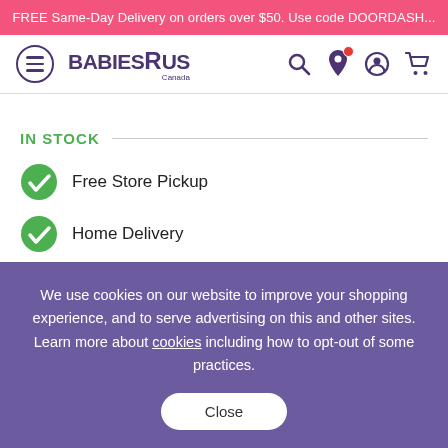FREE Same-Day Delivery on orders over $50. Use code DOORDASH...
[Figure (screenshot): Babies R Us Canada navigation bar with hamburger menu, logo, search, location, account, and cart icons]
IN STOCK
Free Store Pickup
Home Delivery
We use cookies on our website to improve your shopping experience, and to serve advertising on this and other sites. Learn more about cookies including how to opt-out of some practices.
Close